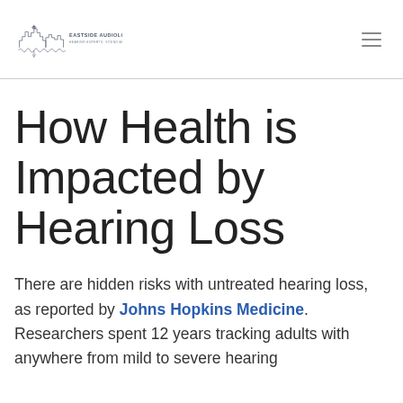EASTSIDE AUDIOLOGY — HEARING EXPERTS. SOUND ADVICE.
How Health is Impacted by Hearing Loss
There are hidden risks with untreated hearing loss, as reported by Johns Hopkins Medicine. Researchers spent 12 years tracking adults with anywhere from mild to severe hearing